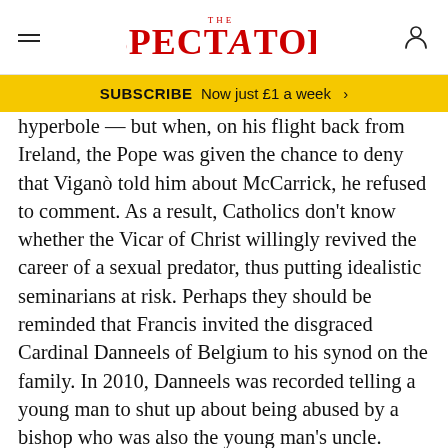THE SPECTATOR
SUBSCRIBE  Now just £1 a week  >
hyperbole — but when, on his flight back from Ireland, the Pope was given the chance to deny that Viganò told him about McCarrick, he refused to comment. As a result, Catholics don't know whether the Vicar of Christ willingly revived the career of a sexual predator, thus putting idealistic seminarians at risk. Perhaps they should be reminded that Francis invited the disgraced Cardinal Danneels of Belgium to his synod on the family. In 2010, Danneels was recorded telling a young man to shut up about being abused by a bishop who was also the young man's uncle. Three years later, Danneels was also one of the cardinals